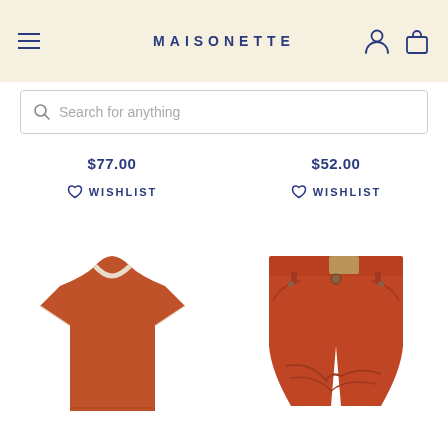MAISONETTE
Search for anything
$77.00
$52.00
WISHLIST
WISHLIST
[Figure (photo): Orange/terracotta children's short-sleeve t-shirt with white trim detail]
[Figure (photo): Red/terracotta children's denim shorts with embroidered detail and button]